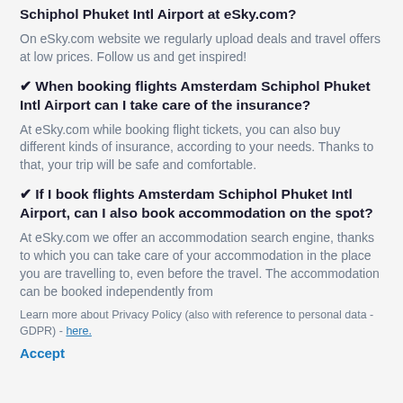Are there any special offers for flights Amsterdam Schiphol Phuket Intl Airport at eSky.com?
On eSky.com website we regularly upload deals and travel offers at low prices. Follow us and get inspired!
✔ When booking flights Amsterdam Schiphol Phuket Intl Airport can I take care of the insurance?
At eSky.com while booking flight tickets, you can also buy different kinds of insurance, according to your needs. Thanks to that, your trip will be safe and comfortable.
✔ If I book flights Amsterdam Schiphol Phuket Intl Airport, can I also book accommodation on the spot?
At eSky.com we offer an accommodation search engine, thanks to which you can take care of your accommodation in the place you are travelling to, even before the travel. The accommodation can be booked independently from
Learn more about Privacy Policy (also with reference to personal data - GDPR) - here.
Accept